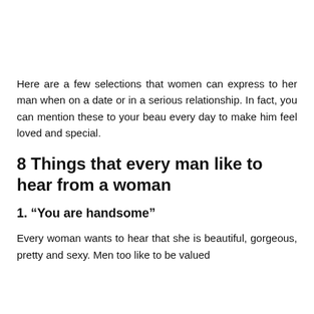Here are a few selections that women can express to her man when on a date or in a serious relationship. In fact, you can mention these to your beau every day to make him feel loved and special.
8 Things that every man like to hear from a woman
1. “You are handsome”
Every woman wants to hear that she is beautiful, gorgeous, pretty and sexy. Men too like to be valued